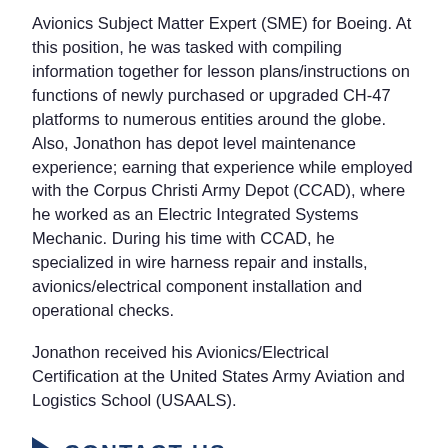Avionics Subject Matter Expert (SME) for Boeing. At this position, he was tasked with compiling information together for lesson plans/instructions on functions of newly purchased or upgraded CH-47 platforms to numerous entities around the globe. Also, Jonathon has depot level maintenance experience; earning that experience while employed with the Corpus Christi Army Depot (CCAD), where he worked as an Electric Integrated Systems Mechanic. During his time with CCAD, he specialized in wire harness repair and installs, avionics/electrical component installation and operational checks.
Jonathon received his Avionics/Electrical Certification at the United States Army Aviation and Logistics School (USAALS).
CONTACT US